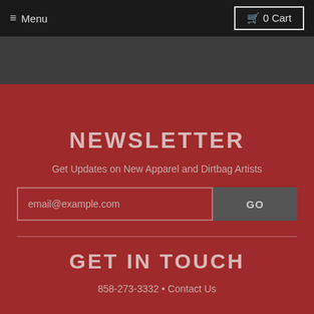≡ Menu   🛒 0 Cart
NEWSLETTER
Get Updates on New Apparel and Dirtbag Artists
email@example.com  GO
GET IN TOUCH
858-273-3332 • Contact Us